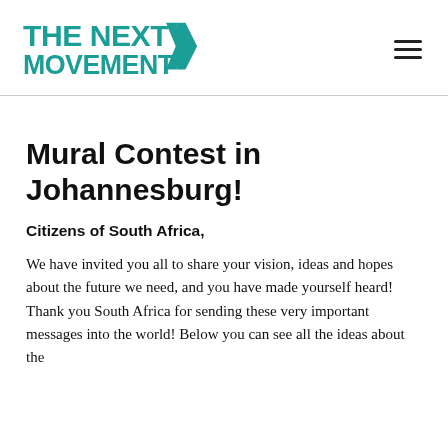THE NEXT MOVEMENT [logo]
Mural Contest in Johannesburg!
Citizens of South Africa,
We have invited you all to share your vision, ideas and hopes about the future we need, and you have made yourself heard! Thank you South Africa for sending these very important messages into the world! Below you can see all the ideas about the